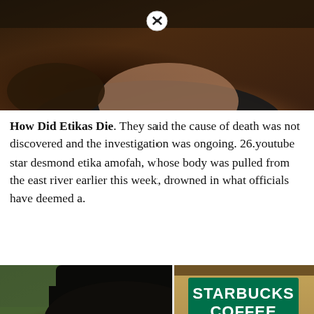[Figure (photo): Close-up photo of a young Black man's face, wearing dark clothing, photographed from below. A circular close/X button overlay appears at the top center.]
How Did Etikas Die. They said the cause of death was not discovered and the investigation was ongoing. 26.youtube star desmond etika amofah, whose body was pulled from the east river earlier this week, drowned in what officials have deemed a.
[Figure (photo): Two side-by-side photos: left shows a young Black man with a flat-top haircut outdoors near palm trees; right shows a Starbucks Coffee storefront sign with a Noah's Bagels sign below. A circular close/X button overlay appears at bottom center of the left photo. A scroll-up arrow is visible at the bottom right.]